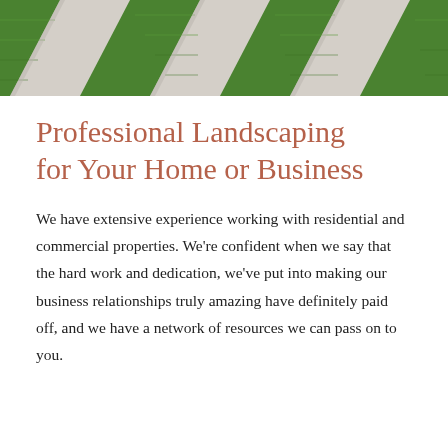[Figure (photo): Close-up aerial view of green grass lawn with diagonal concrete or stone path dividers, creating striped pattern of grass and grey pavement.]
Professional Landscaping for Your Home or Business
We have extensive experience working with residential and commercial properties. We're confident when we say that the hard work and dedication, we've put into making our business relationships truly amazing have definitely paid off, and we have a network of resources we can pass on to you.